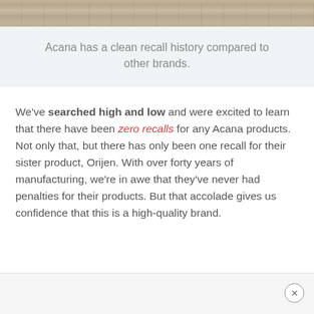[Figure (photo): Wood texture image at top of page]
Acana has a clean recall history compared to other brands.
We've searched high and low and were excited to learn that there have been zero recalls for any Acana products. Not only that, but there has only been one recall for their sister product, Orijen. With over forty years of manufacturing, we're in awe that they've never had penalties for their products. But that accolade gives us confidence that this is a high-quality brand.